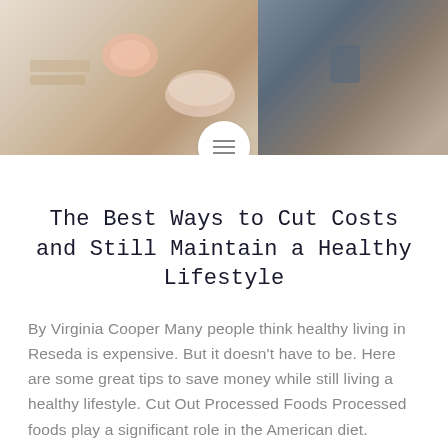[Figure (photo): Photo banner showing a food/breakfast table on the left with fruits, crackers, and bowls, and a person sitting in a floral outfit on the right. A circular menu icon overlays the center bottom of the image.]
The Best Ways to Cut Costs and Still Maintain a Healthy Lifestyle
By Virginia Cooper Many people think healthy living in Reseda is expensive. But it doesn't have to be. Here are some great tips to save money while still living a healthy lifestyle. Cut Out Processed Foods Processed foods play a significant role in the American diet. They're cheap, easy to find, and often more delicious...
READ MORE